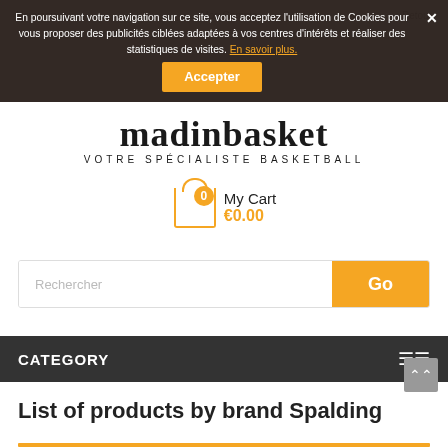En poursuivant votre navigation sur ce site, vous acceptez l'utilisation de Cookies pour vous proposer des publicités ciblées adaptées à vos centres d'intérêts et réaliser des statistiques de visites. En savoir plus.
[Figure (logo): MadinBasket logo — stylized dark serif wordmark with tagline VOTRE SPÉCIALISTE BASKETBALL]
[Figure (infographic): Shopping cart icon with orange badge showing 0, labeled My Cart €0.00]
Rechercher
CATEGORY
List of products by brand Spalding